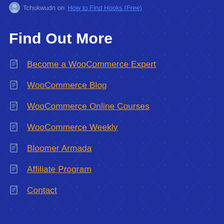Tchukwudn on How to Find Hooks (Free)
Find Out More
Become a WooCommerce Expert
WooCommerce Blog
WooCommerce Online Courses
WooCommerce Weekly
Bloomer Armada
Affiliate Program
Contact